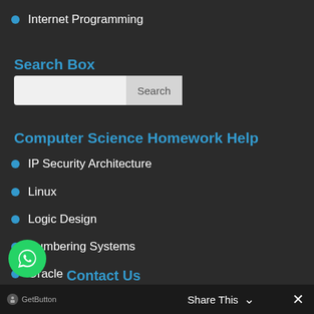Internet Programming
Search Box
[Figure (other): Search input box with Search button]
Computer Science Homework Help
IP Security Architecture
Linux
Logic Design
Numbering Systems
Oracle
OSI and TCP-IP Models
GetButton   Share This   ×
Contact Us